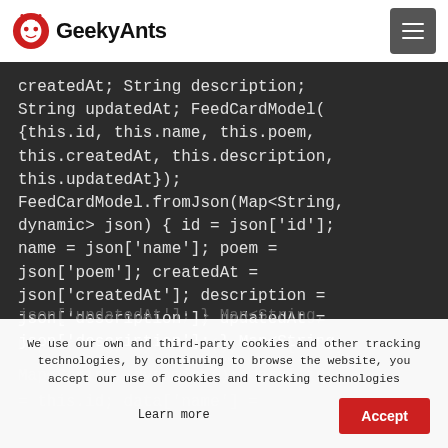GeekyAnts
createdAt; String description; String updatedAt; FeedCardModel({this.id, this.name, this.poem, this.createdAt, this.description, this.updatedAt}); FeedCardModel.fromJson(Map<String, dynamic> json) { id = json['id']; name = json['name']; poem = json['poem']; createdAt = json['createdAt']; description = json['description']; updatedAt = json['description']; } Map<String, dynamic> toJson() { Map<String, dynamic> data = new Map<String, dynamic>(); data['id'] = this.id; data['name'] =
We use our own and third-party cookies and other tracking technologies, by continuing to browse the website, you accept our use of cookies and tracking technologies
Learn more